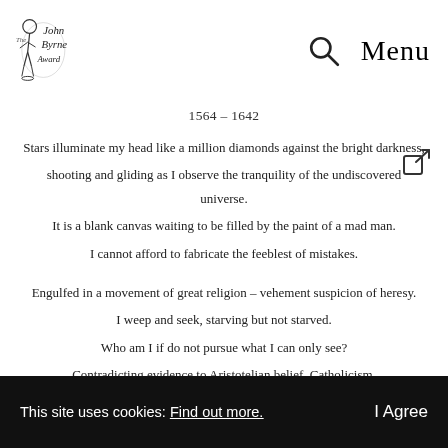[Figure (logo): John Byrne Award logo with illustrated figure and text]
Menu
1564 – 1642
Stars illuminate my head like a million diamonds against the bright darkness,
shooting and gliding as I observe the tranquility of the undiscovered universe.
It is a blank canvas waiting to be filled by the paint of a mad man.
I cannot afford to fabricate the feeblest of mistakes.
Engulfed in a movement of great religion – vehement suspicion of heresy.
I weep and seek, starving but not starved.
Who am I if do not pursue what I can only see?
Contradicting evidence to Aristotelian belief. Catholicism.
This site uses cookies: Find out more.  I Agree